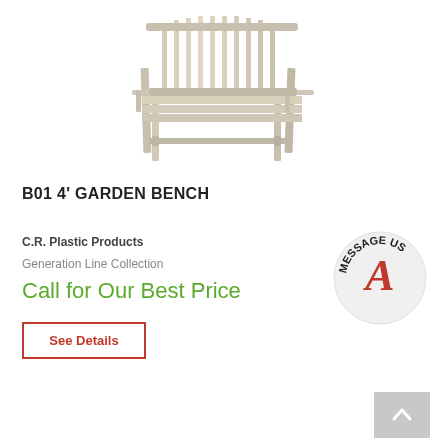[Figure (photo): A light-colored wooden garden bench with slatted back and seat, armrests, viewed from a slight angle on a white background.]
B01 4' GARDEN BENCH
C.R. Plastic Products
Generation Line Collection
Call for Our Best Price
See Details
[Figure (logo): MESSAGE US circular badge with a red cursive letter A in the center, black text around the circle.]